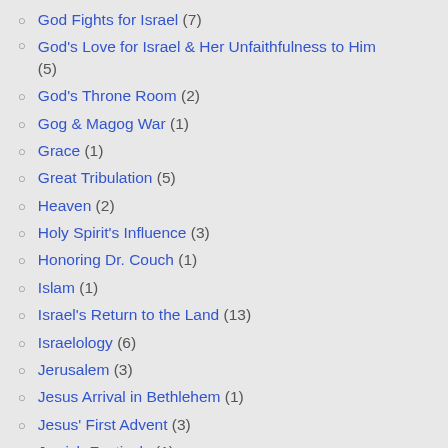God Fights for Israel (7)
God's Love for Israel & Her Unfaithfulness to Him (5)
God's Throne Room (2)
Gog & Magog War (1)
Grace (1)
Great Tribulation (5)
Heaven (2)
Holy Spirit's Influence (3)
Honoring Dr. Couch (1)
Islam (1)
Israel's Return to the Land (13)
Israelology (6)
Jerusalem (3)
Jesus Arrival in Bethlehem (1)
Jesus' First Advent (3)
Jewish Festivals (1)
Joseph (1)
Kings (2)